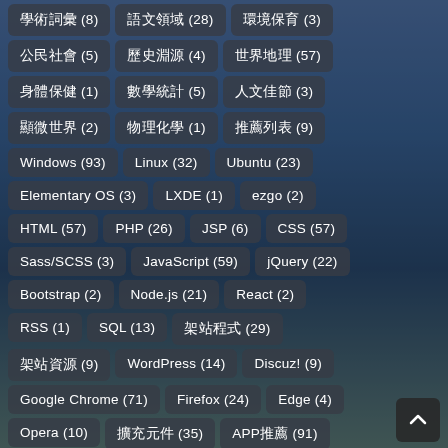學術詞彙 (8)
語文領域 (28)
環境保育 (3)
公民社會 (5)
歷史淵源 (4)
世界地理 (57)
身體保健 (1)
數學統計 (5)
人文佳節 (3)
顯微世界 (2)
物理化學 (1)
推薦列表 (9)
Windows (93)
Linux (32)
Ubuntu (23)
Elementary OS (3)
LXDE (1)
ezgo (2)
HTML (57)
PHP (26)
JSP (6)
CSS (57)
Sass/SCSS (3)
JavaScript (59)
jQuery (22)
Bootstrap (2)
Node.js (21)
React (2)
RSS (1)
SQL (13)
架站程式 (29)
架站資源 (9)
WordPress (14)
Discuz! (9)
Google Chrome (71)
Firefox (24)
Edge (4)
Opera (10)
擴充元件 (35)
APP推薦 (91)